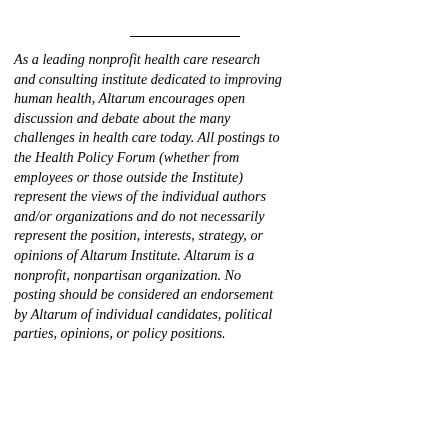As a leading nonprofit health care research and consulting institute dedicated to improving human health, Altarum encourages open discussion and debate about the many challenges in health care today. All postings to the Health Policy Forum (whether from employees or those outside the Institute) represent the views of the individual authors and/or organizations and do not necessarily represent the position, interests, strategy, or opinions of Altarum Institute. Altarum is a nonprofit, nonpartisan organization. No posting should be considered an endorsement by Altarum of individual candidates, political parties, opinions, or policy positions.